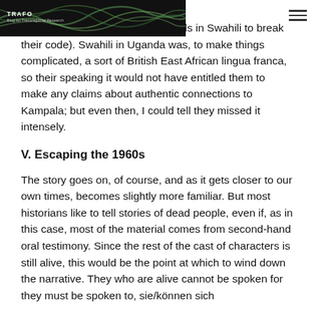TRAFO – Blog for Transregional Research
when they could capacity to communicate something I cognitive/some of us understand – as a result of which I acquired a few useful words in Swahili to break their code). Swahili in Uganda was, to make things complicated, a sort of British East African lingua franca, so their speaking it would not have entitled them to make any claims about authentic connections to Kampala; but even then, I could tell they missed it intensely.
V. Escaping the 1960s
The story goes on, of course, and as it gets closer to our own times, becomes slightly more familiar. But most historians like to tell stories of dead people, even if, as in this case, most of the material comes from second-hand oral testimony. Since the rest of the cast of characters is still alive, this would be the point at which to wind down the narrative. They who are alive cannot be spoken for they must be spoken to, sie/können sich